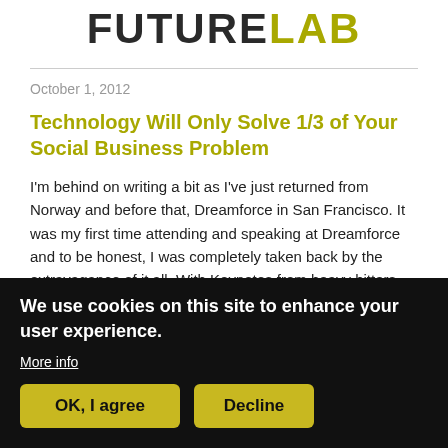[Figure (logo): FutureLab logo with 'FUTURE' in dark/black and 'LAB' in olive/yellow-green bold text]
October 1, 2012
Technology Will Only Solve 1/3 of Your Social Business Problem
I'm behind on writing a bit as I've just returned from Norway and before that, Dreamforce in San Francisco. It was my first time attending and speaking at Dreamforce and to be honest, I was completely taken back by the extravagance of it all. With Keynotes from heavy hitters such
We use cookies on this site to enhance your user experience.
More info
OK, I agree
Decline